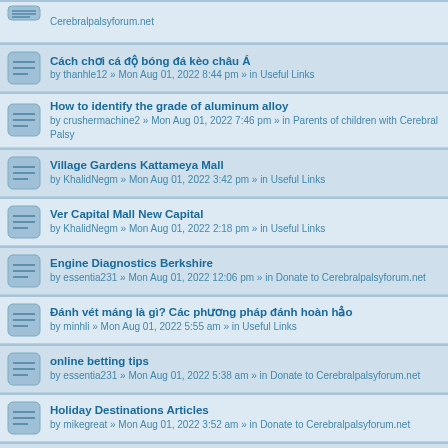Cerebralpalsyforum.net
Cách chơi cá độ bóng đá kèo châu Á
by thanhle12 » Mon Aug 01, 2022 8:44 pm » in Useful Links
How to identify the grade of aluminum alloy
by crushermachine2 » Mon Aug 01, 2022 7:46 pm » in Parents of children with Cerebral Palsy
Village Gardens Kattameya Mall
by KhalidNegm » Mon Aug 01, 2022 3:42 pm » in Useful Links
Ver Capital Mall New Capital
by KhalidNegm » Mon Aug 01, 2022 2:18 pm » in Useful Links
Engine Diagnostics Berkshire
by essentia231 » Mon Aug 01, 2022 12:06 pm » in Donate to Cerebralpalsyforum.net
Đánh vét máng là gì? Các phương pháp đánh hoàn hảo
by minhli » Mon Aug 01, 2022 5:55 am » in Useful Links
online betting tips
by essentia231 » Mon Aug 01, 2022 5:38 am » in Donate to Cerebralpalsyforum.net
Holiday Destinations Articles
by mikegreat » Mon Aug 01, 2022 3:52 am » in Donate to Cerebralpalsyforum.net
Tadora Tablet - Uses, Side Effects, Substitutes
by strapcart_online » Mon Aug 01, 2022 2:40 am » in Mobility Tools
Boost Confidence In Your Bedroom With Vilitra
by welloxpharmacy » Sun Jul 31, 2022 11:59 pm » in Donate to Cerebralpalsyforum.net